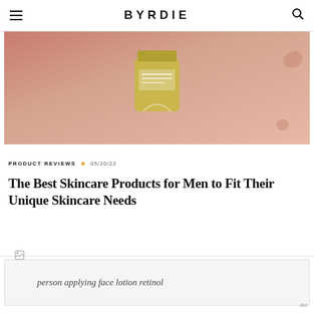BYRDIE
[Figure (photo): A skincare product bottle (olive/yellow tinted glass jar) floating above a pinkish-peach background with water droplets]
PRODUCT REVIEWS  05/20/22
The Best Skincare Products for Men to Fit Their Unique Skincare Needs
[Figure (photo): person applying face lotion retinol (broken image placeholder)]